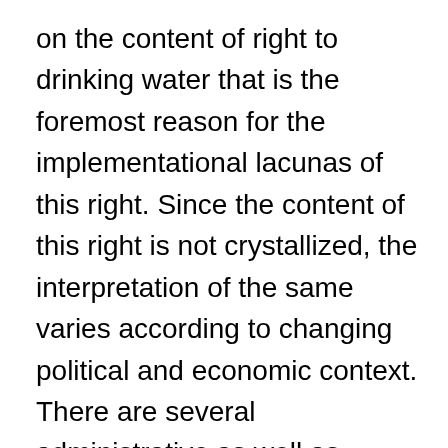on the content of right to drinking water that is the foremost reason for the implementational lacunas of this right. Since the content of this right is not crystallized, the interpretation of the same varies according to changing political and economic context. There are several administrative as well as legislative policies around the same but right to water has not been explicitly recognized by any of these legal instruments. These instruments provide a means for water supply and distribution but do not provide for any legal